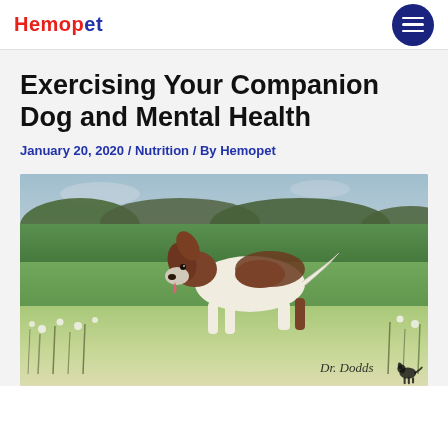Hemopet
Exercising Your Companion Dog and Mental Health
January 20, 2020 / Nutrition / By Hemopet
[Figure (photo): A brown and white spaniel dog running through a field of wildflowers and tall grass with trees and sky in the background. Watermark 'Dr. Dodds' with a dog silhouette in the bottom right corner.]